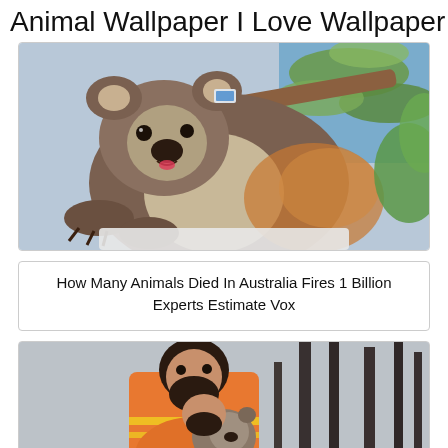Animal Wallpaper I Love Wallpaper
[Figure (photo): A koala bear sitting in a eucalyptus tree, wearing a medical tag, with green leaves visible around it. Brown fur, looking at camera.]
How Many Animals Died In Australia Fires 1 Billion Experts Estimate Vox
[Figure (photo): A bearded man in an orange high-visibility jacket holding and nuzzling a koala bear, with burnt tree trunks visible in the background.]